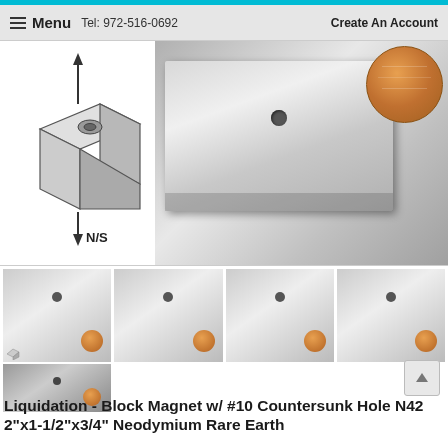Menu  Tel: 972-516-0692  Create An Account
[Figure (photo): Product photo of a block magnet with countersunk hole, shown next to a penny for scale. Left side shows a line diagram of the magnet with N/S polarity arrows. A large silver metallic block magnet and a copper penny coin are visible.]
[Figure (photo): Four thumbnail images of the block magnet with #10 countersunk hole shown next to pennies at different angles, plus one standalone close-up thumbnail in a second row.]
Liquidation - Block Magnet w/ #10 Countersunk Hole N42 2"x1-1/2"x3/4" Neodymium Rare Earth